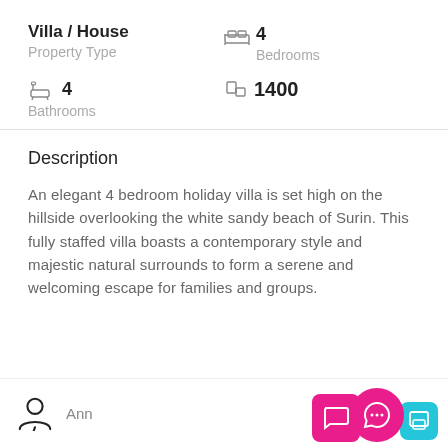Villa / House
Property Type
4 Bedrooms
4 Bathrooms
1400
Description
An elegant 4 bedroom holiday villa is set high on the hillside overlooking the white sandy beach of Surin. This fully staffed villa boasts a contemporary style and majestic natural surrounds to form a serene and welcoming escape for families and groups.
Ann